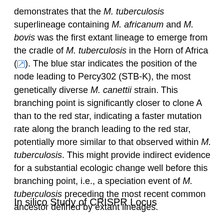demonstrates that the M. tuberculosis superlineage containing M. africanum and M. bovis was the first extant lineage to emerge from the cradle of M. tuberculosis in the Horn of Africa (↗). The blue star indicates the position of the node leading to Percy302 (STB-K), the most genetically diverse M. canettii strain. This branching point is significantly closer to clone A than to the red star, indicating a faster mutation rate along the branch leading to the red star, potentially more similar to that observed within M. tuberculosis. This might provide indirect evidence for a substantial ecologic change well before this branching point, i.e., a speciation event of M. tuberculosis preceding the most recent common ancestor defined by extant lineages.
In silico Study of CRISPR Locus